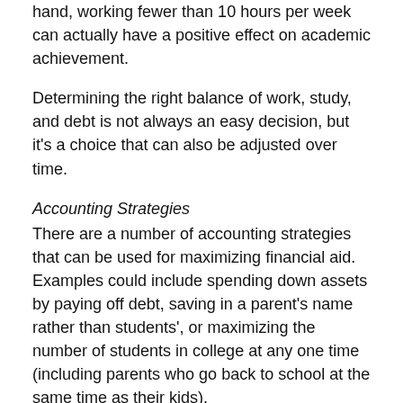hand, working fewer than 10 hours per week can actually have a positive effect on academic achievement.
Determining the right balance of work, study, and debt is not always an easy decision, but it's a choice that can also be adjusted over time.
Accounting Strategies
There are a number of accounting strategies that can be used for maximizing financial aid. Examples could include spending down assets by paying off debt, saving in a parent's name rather than students', or maximizing the number of students in college at any one time (including parents who go back to school at the same time as their kids).
We do not cover such strategies here, but for those with at least one or two years before college, there are books such as Paying for College Without Going